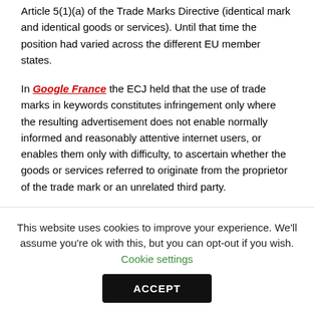Article 5(1)(a) of the Trade Marks Directive (identical mark and identical goods or services). Until that time the position had varied across the different EU member states.
In Google France the ECJ held that the use of trade marks in keywords constitutes infringement only where the resulting advertisement does not enable normally informed and reasonably attentive internet users, or enables them only with difficulty, to ascertain whether the goods or services referred to originate from the proprietor of the trade mark or an unrelated third party.
To many brand owners, and most trade mark lawyers, this
This website uses cookies to improve your experience. We'll assume you're ok with this, but you can opt-out if you wish. Cookie settings
ACCEPT